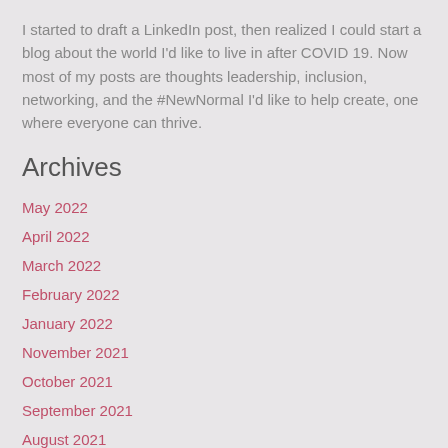I started to draft a LinkedIn post, then realized I could start a blog about the world I'd like to live in after COVID 19. Now most of my posts are thoughts leadership, inclusion, networking, and the #NewNormal I'd like to help create, one where everyone can thrive.
Archives
May 2022
April 2022
March 2022
February 2022
January 2022
November 2021
October 2021
September 2021
August 2021
July 2021
June 2021
May 2021